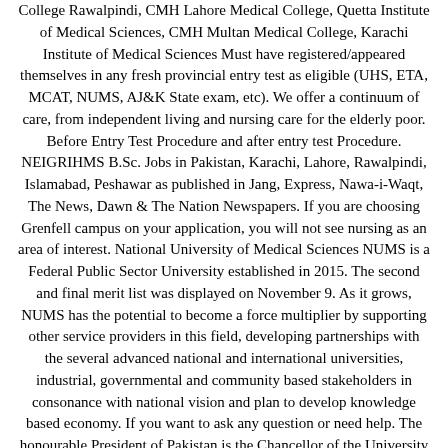College Rawalpindi, CMH Lahore Medical College, Quetta Institute of Medical Sciences, CMH Multan Medical College, Karachi Institute of Medical Sciences Must have registered/appeared themselves in any fresh provincial entry test as eligible (UHS, ETA, MCAT, NUMS, AJ&K State exam, etc). We offer a continuum of care, from independent living and nursing care for the elderly poor. Before Entry Test Procedure and after entry test Procedure. NEIGRIHMS B.Sc. Jobs in Pakistan, Karachi, Lahore, Rawalpindi, Islamabad, Peshawar as published in Jang, Express, Nawa-i-Waqt, The News, Dawn & The Nation Newspapers. If you are choosing Grenfell campus on your application, you will not see nursing as an area of interest. National University of Medical Sciences NUMS is a Federal Public Sector University established in 2015. The second and final merit list was displayed on November 9. As it grows, NUMS has the potential to become a force multiplier by supporting other service providers in this field, developing partnerships with the several advanced national and international universities, industrial, governmental and community based stakeholders in consonance with national vision and plan to develop knowledge based economy. If you want to ask any question or need help. The honourable President of Pakistan is the Chancellor of the University and the Chief of the Army Staff is the Pro-Chancellor. NUMS – MDCAT 2021 Online Registration For MBBS and BDS admissions in the AMC, A prospectus is compulsory for the admission. The vision of National University of Medical Sciences is to improve the quality